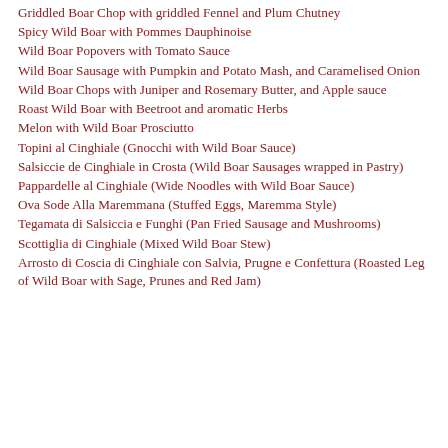Griddled Boar Chop with griddled Fennel and Plum Chutney
Spicy Wild Boar with Pommes Dauphinoise
Wild Boar Popovers with Tomato Sauce
Wild Boar Sausage with Pumpkin and Potato Mash, and Caramelised Onion
Wild Boar Chops with Juniper and Rosemary Butter, and Apple sauce
Roast Wild Boar with Beetroot and aromatic Herbs
Melon with Wild Boar Prosciutto
Topini al Cinghiale (Gnocchi with Wild Boar Sauce)
Salsiccie de Cinghiale in Crosta (Wild Boar Sausages wrapped in Pastry)
Pappardelle al Cinghiale (Wide Noodles with Wild Boar Sauce)
Ova Sode Alla Maremmana (Stuffed Eggs, Maremma Style)
Tegamata di Salsiccia e Funghi (Pan Fried Sausage and Mushrooms)
Scottiglia di Cinghiale (Mixed Wild Boar Stew)
Arrosto di Coscia di Cinghiale con Salvia, Prugne e Confettura (Roasted Leg of Wild Boar with Sage, Prunes and Red Jam)